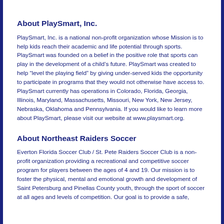About PlaySmart, Inc.
PlaySmart, Inc. is a national non-profit organization whose Mission is to help kids reach their academic and life potential through sports. PlaySmart was founded on a belief in the positive role that sports can play in the development of a child’s future. PlaySmart was created to help “level the playing field” by giving under-served kids the opportunity to participate in programs that they would not otherwise have access to. PlaySmart currently has operations in Colorado, Florida, Georgia, Illinois, Maryland, Massachusetts, Missouri, New York, New Jersey, Nebraska, Oklahoma and Pennsylvania. If you would like to learn more about PlaySmart, please visit our website at www.playsmart.org.
About Northeast Raiders Soccer
Everton Florida Soccer Club / St. Pete Raiders Soccer Club is a non-profit organization providing a recreational and competitive soccer program for players between the ages of 4 and 19. Our mission is to foster the physical, mental and emotional growth and development of Saint Petersburg and Pinellas County youth, through the sport of soccer at all ages and levels of competition. Our goal is to provide a safe,